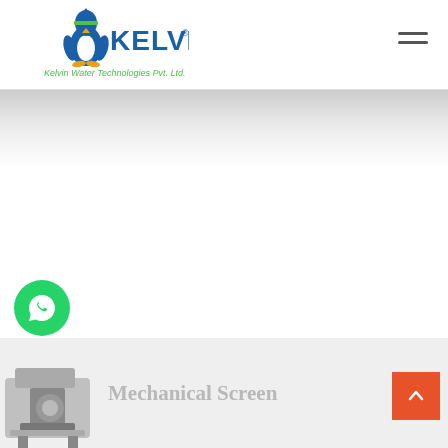[Figure (logo): Kelvin Water Technologies Pvt. Ltd. logo with penguin mascot in blue and green]
Mechanical Screen